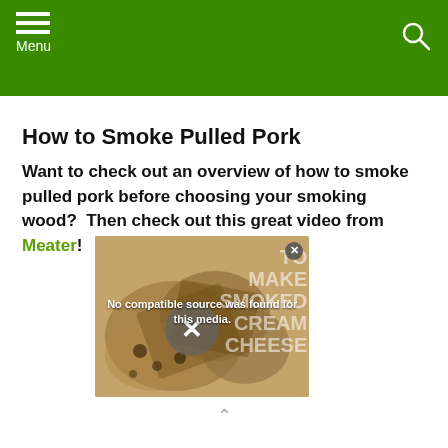Menu
How to Smoke Pulled Pork
Want to check out an overview of how to smoke pulled pork before choosing your smoking wood?  Then check out this great video from Meater!
[Figure (screenshot): Embedded video player showing a video thumbnail of smoked food. The video shows a message 'No compatible source was found for this media.' with an X button overlay and a close button. Text on the right side of the video reads 'TO MAKE SMOKED CREAM CHEESE'.]